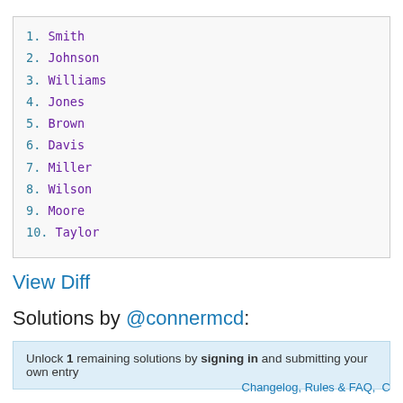1. Smith
2. Johnson
3. Williams
4. Jones
5. Brown
6. Davis
7. Miller
8. Wilson
9. Moore
10. Taylor
View Diff
Solutions by @connermcd:
Unlock 1 remaining solutions by signing in and submitting your own entry